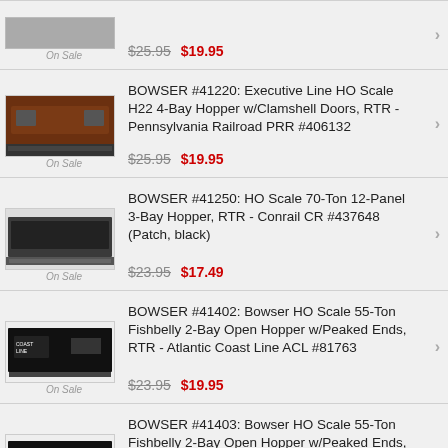Pennsylvania Railroad PRR #406299
BOWSER #41220: Executive Line HO Scale H22 4-Bay Hopper w/Clamshell Doors, RTR - Pennsylvania Railroad PRR #406132
BOWSER #41250: HO Scale 70-Ton 12-Panel 3-Bay Hopper, RTR - Conrail CR #437648 (Patch, black)
BOWSER #41402: Bowser HO Scale 55-Ton Fishbelly 2-Bay Open Hopper w/Peaked Ends, RTR - Atlantic Coast Line ACL #81763
BOWSER #41403: Bowser HO Scale 55-Ton Fishbelly 2-Bay Open Hopper w/Peaked Ends, RTR - Atlantic Coast Line ACL #81774